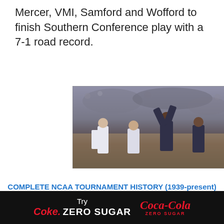Mercer, VMI, Samford and Wofford to finish Southern Conference play with a 7-1 road record.
[Figure (photo): Basketball game scene with players on court and crowd in background; dark-uniformed player with arms raised, light-uniformed players nearby]
COMPLETE NCAA TOURNAMENT HISTORY (1939-present)
1939-49 Brackets: 1939 | 1940 | 1941 | 1942 | 1943 | 1944 | 1945 | 1946 | 1947 | 1948 | 1949
[Figure (photo): Coca-Cola advertisement banner: Try Coke Zero Sugar with Coca-Cola Zero Sugar logo]